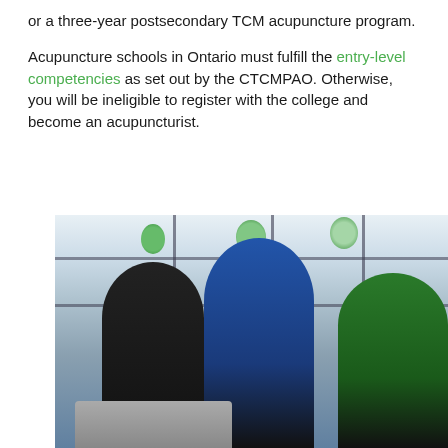or a three-year postsecondary TCM acupuncture program.
Acupuncture schools in Ontario must fulfill the entry-level competencies as set out by the CTCMPAO. Otherwise, you will be ineligible to register with the college and become an acupuncturist.
[Figure (photo): Three people gathered around a laptop in an office or classroom setting. A woman with glasses wearing a blue top leans forward to look at the screen, while a woman seated on the left with long hair and a man on the right wearing a green polo shirt also look at the laptop. Potted plants and a large window with a grid frame are visible in the background.]